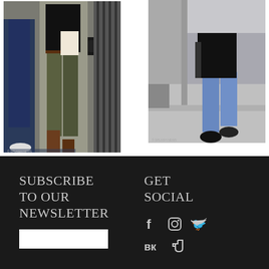[Figure (photo): Two people walking on a street, one wearing olive green pants and brown boots, the other in dark jeans]
[Figure (photo): Person walking on a sidewalk wearing jeans and a black jacket, carrying a bag]
SUBSCRIBE TO OUR NEWSLETTER
GET SOCIAL
[Figure (other): Email input box for newsletter subscription]
[Figure (infographic): Social media icons: Facebook, Instagram, Twitter, VK, Tumblr]